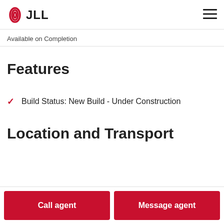JLL
Available on Completion
Features
Build Status: New Build - Under Construction
Location and Transport
Call agent
Message agent